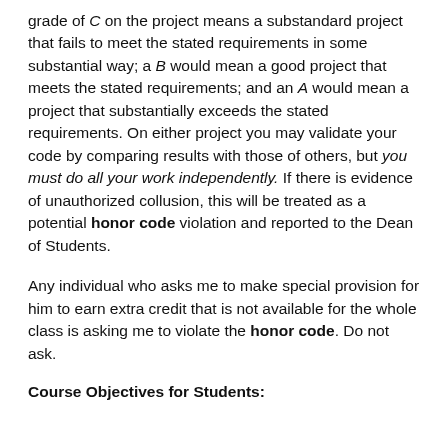grade of C on the project means a substandard project that fails to meet the stated requirements in some substantial way; a B would mean a good project that meets the stated requirements; and an A would mean a project that substantially exceeds the stated requirements. On either project you may validate your code by comparing results with those of others, but you must do all your work independently. If there is evidence of unauthorized collusion, this will be treated as a potential honor code violation and reported to the Dean of Students.
Any individual who asks me to make special provision for him to earn extra credit that is not available for the whole class is asking me to violate the honor code. Do not ask.
Course Objectives for Students: